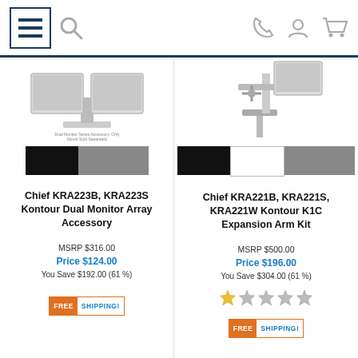Navigation bar with menu, search, phone, account, and cart icons
[Figure (photo): Chief KRA223B/KRA223S Kontour Dual Monitor Array Accessory product image showing dual monitors on stand]
[Figure (illustration): Color swatches: black and gray for Chief KRA223B/KRA223S]
Chief KRA223B, KRA223S Kontour Dual Monitor Array Accessory
MSRP $316.00
Price $124.00
You Save $192.00 (61 %)
[Figure (illustration): FREE SHIPPING badge]
[Figure (photo): Chief KRA221B, KRA221S, KRA221W Kontour K1C Expansion Arm Kit product image showing monitor arm mount]
[Figure (illustration): Color swatches: black, white, and gray for Chief KRA221B/KRA221S/KRA221W]
Chief KRA221B, KRA221S, KRA221W Kontour K1C Expansion Arm Kit
MSRP $500.00
Price $196.00
You Save $304.00 (61 %)
[Figure (illustration): Star rating: 1 out of 5 stars]
[Figure (illustration): FREE SHIPPING badge]